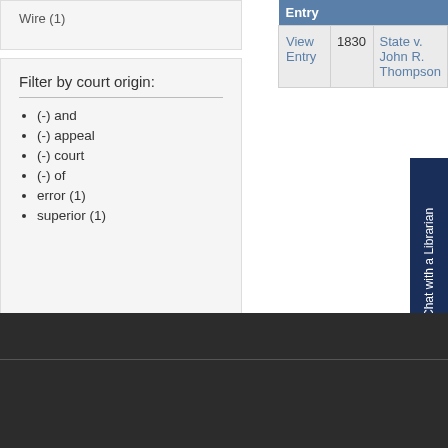Filter by court origin:
(-) and
(-) appeal
(-) court
(-) of
error (1)
superior (1)
| Entry |  |  |
| --- | --- | --- |
| View Entry | 1830 | State v. John R. Thompson |
Click Here to Chat with a Librarian